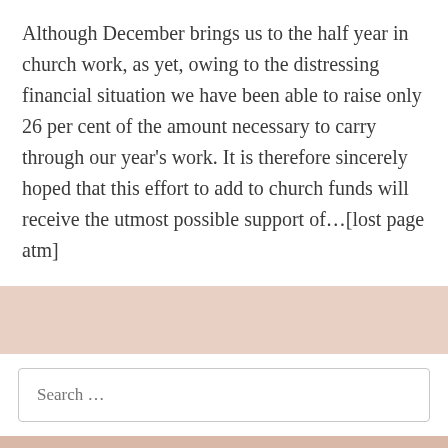Although December brings us to the half year in church work, as yet, owing to the distressing financial situation we have been able to raise only 26 per cent of the amount necessary to carry through our year's work. It is therefore sincerely hoped that this effort to add to church funds will receive the utmost possible support of…[lost page atm]
RECENT POSTS